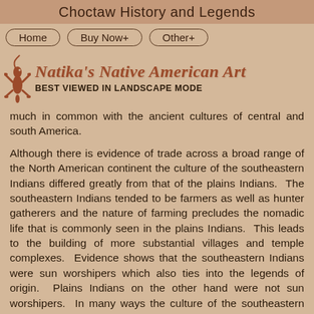Choctaw History and Legends
Home   Buy Now+   Other+
[Figure (logo): Natika's Native American Art logo with decorative lizard/gecko icon on left and italic styled text reading "Natika's Native American Art" with subtitle "BEST VIEWED IN LANDSCAPE MODE"]
much in common with the ancient cultures of central and south America.
Although there is evidence of trade across a broad range of the North American continent the culture of the southeastern Indians differed greatly from that of the plains Indians.  The southeastern Indians tended to be farmers as well as hunter gatherers and the nature of farming precludes the nomadic life that is commonly seen in the plains Indians.  This leads to the building of more substantial villages and temple complexes.  Evidence shows that the southeastern Indians were sun worshipers which also ties into the legends of origin.  Plains Indians on the other hand were not sun worshipers.  In many ways the culture of the southeastern Indians more closely resembles that of the Indians of central and south America